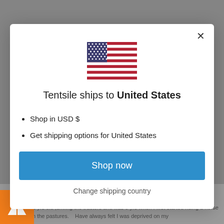[Figure (screenshot): Modal dialog on a website showing US flag, shipping information for United States, and a Shop now button]
Tentsile ships to United States
Shop in USD $
Get shipping options for United States
Shop now
Change shipping country
[Figure (logo): Orange square logo with white triangle/tent icon at bottom left]
ng age of 12 yrs old, driving the tractors and was 8 yrs when I first started riding a horse by my self in the pastures. Have always felt I was deprived on my